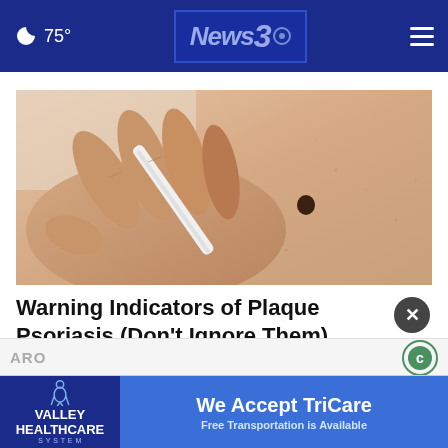🌙 75° | News3 | ≡
[Figure (photo): Close-up photo of a hand holding a white pen or tool near a dark mole on skin, suggesting a dermatology or skin examination context.]
Warning Indicators of Plaque Psoriasis (Don't Ignore Them)
Ad by Plaque Psoriasis
[Figure (infographic): Valley Healthcare System banner ad. Shows logo with human body figure icon on dark blue background, with text 'We Accept TriCare' and 'Free Transportation is Available' on blue background.]